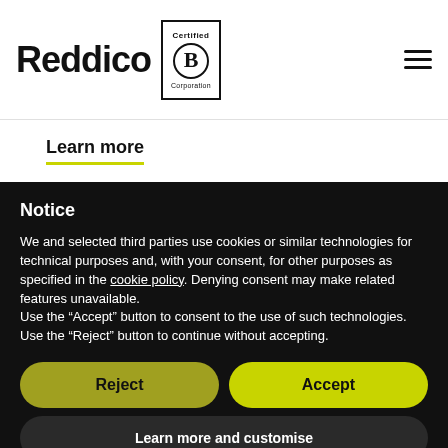Reddico | Certified B Corporation
Learn more
Notice
We and selected third parties use cookies or similar technologies for technical purposes and, with your consent, for other purposes as specified in the cookie policy. Denying consent may make related features unavailable.
Use the “Accept” button to consent to the use of such technologies. Use the “Reject” button to continue without accepting.
Reject
Accept
Learn more and customise